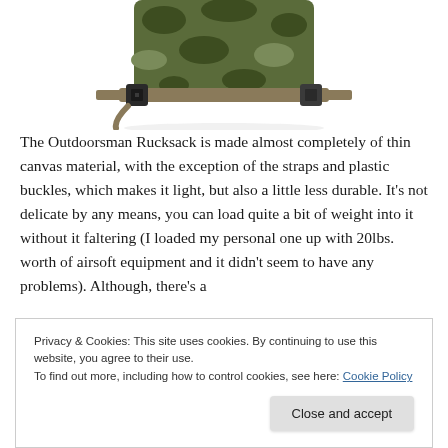[Figure (photo): Partial view of a camouflage military-style rucksack/backpack showing the bottom section with plastic buckles and straps, on a white background.]
The Outdoorsman Rucksack is made almost completely of thin canvas material, with the exception of the straps and plastic buckles, which makes it light, but also a little less durable. It’s not delicate by any means, you can load quite a bit of weight into it without it faltering (I loaded my personal one up with 20lbs. worth of airsoft equipment and it didn’t seem to have any problems). Although, there’s a
Privacy & Cookies: This site uses cookies. By continuing to use this website, you agree to their use.
To find out more, including how to control cookies, see here: Cookie Policy